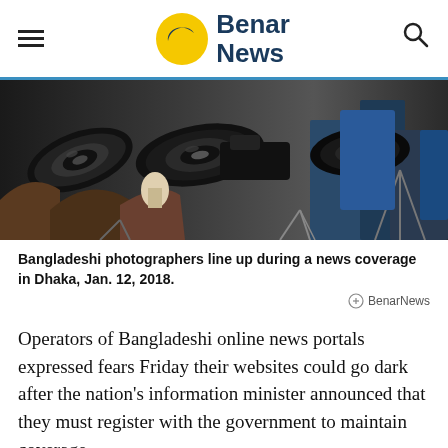Benar News
[Figure (photo): Bangladeshi photographers with cameras and tripods lined up during a news coverage event in Dhaka.]
Bangladeshi photographers line up during a news coverage in Dhaka, Jan. 12, 2018.
Operators of Bangladeshi online news portals expressed fears Friday their websites could go dark after the nation's information minister announced that they must register with the government to maintain coverage.